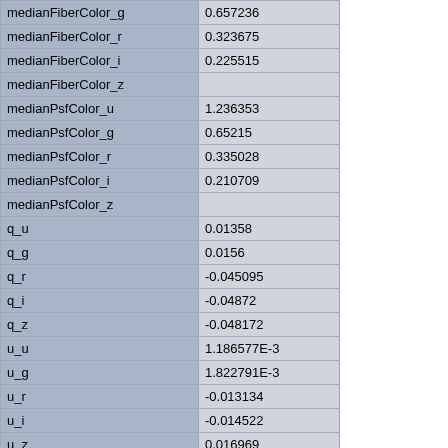| Field | Value |
| --- | --- |
| medianFiberColor_g | 0.657236 |
| medianFiberColor_r | 0.323675 |
| medianFiberColor_i | 0.225515 |
| medianFiberColor_z |  |
| medianPsfColor_u | 1.236353 |
| medianPsfColor_g | 0.65215 |
| medianPsfColor_r | 0.335028 |
| medianPsfColor_i | 0.210709 |
| medianPsfColor_z |  |
| q_u | 0.01358 |
| q_g | 0.0156 |
| q_r | -0.045095 |
| q_i | -0.04872 |
| q_z | -0.048172 |
| u_u | 1.186577E-3 |
| u_g | 1.822791E-3 |
| u_r | -0.013134 |
| u_i | -0.014522 |
| u_z | 0.016969 |
| pspStatus | 0 |
| culled | 0 |